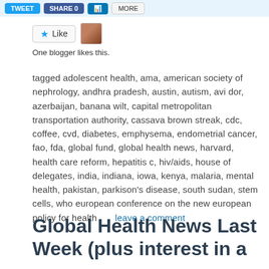[Figure (other): Social sharing buttons bar: Tweet, Share, LinkedIn icon button, More button]
[Figure (other): Like button with star icon and user avatar thumbnail]
One blogger likes this.
tagged adolescent health, ama, american society of nephrology, andhra pradesh, austin, autism, avi dor, azerbaijan, banana wilt, capital metropolitan transportation authority, cassava brown streak, cdc, coffee, cvd, diabetes, emphysema, endometrial cancer, fao, fda, global fund, global health news, harvard, health care reform, hepatitis c, hiv/aids, house of delegates, india, indiana, iowa, kenya, malaria, mental health, pakistan, parkison's disease, south sudan, stem cells, who european conference on the new european policy for health       leave a comment
Global Health News Last Week (plus interest in a